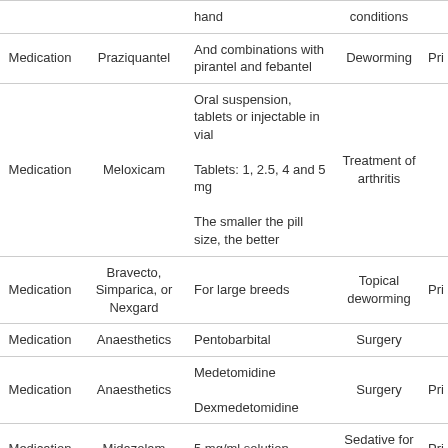| Category | Name | Details | Use | ... |
| --- | --- | --- | --- | --- |
|  |  | hand | conditions |  |
| Medication | Praziquantel | And combinations with pirantel and febantel | Deworming | Pri |
| Medication | Meloxicam | Oral suspension, tablets or injectable in vial
Tablets: 1, 2.5, 4 and 5 mg
The smaller the pill size, the better | Treatment of arthritis |  |
| Medication | Bravecto, Simparica, or Nexgard | For large breeds | Topical deworming | Pri |
| Medication | Anaesthetics | Pentobarbital | Surgery |  |
| Medication | Anaesthetics | Medetomidine
Dexmedetomidine | Surgery | Pri |
| Medication | Midazolam | 5 mg/ml solution | Sedative for surgery | Pri |
| Medication | Opiate analgesics | Buprenorphine, methadone, butorphanol | Pain relief | Pri |
| Medication | Enalapril | 10 mg tablets | Blood pressure conditions |  |